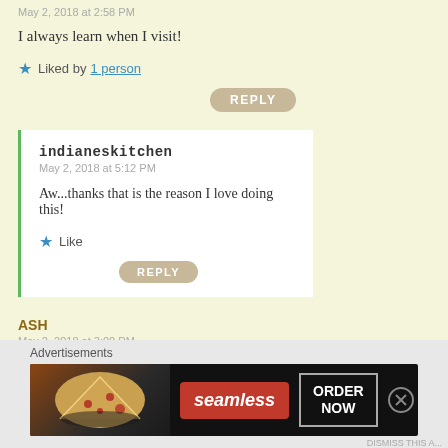May 2, 2018 at 2:58 PM
I always learn when I visit!
★ Liked by 1 person
REPLY
indianeskitchen
May 2, 2018 at 5:12 PM
Aw...thanks that is the reason I love doing this!
★ Like
REPLY
ASH
May 2, 2018 at 3:00 PM
[Figure (screenshot): Seamless food delivery advertisement banner with pizza image, Seamless logo in red, and ORDER NOW button]